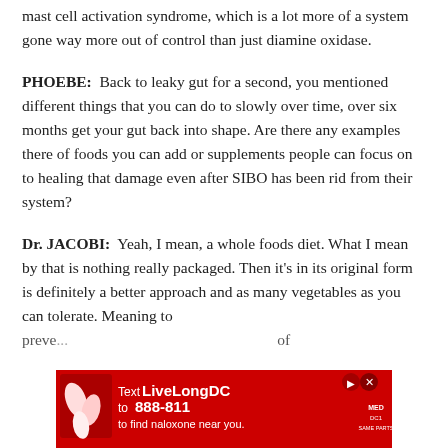mast cell activation syndrome, which is a lot more of a system gone way more out of control than just diamine oxidase.
PHOEBE:  Back to leaky gut for a second, you mentioned different things that you can do to slowly over time, over six months get your gut back into shape. Are there any examples there of foods you can add or supplements people can focus on to healing that damage even after SIBO has been rid from their system?
Dr. JACOBI:  Yeah, I mean, a whole foods diet. What I mean by that is nothing really packaged. Then it's in its original form is definitely a better approach and as many vegetables as you can tolerate. Meaning to preve... of
[Figure (infographic): Red advertisement banner: 'Text LiveLongDC to 888-811 to find naloxone near you.' with close and play buttons and logos on the right side.]